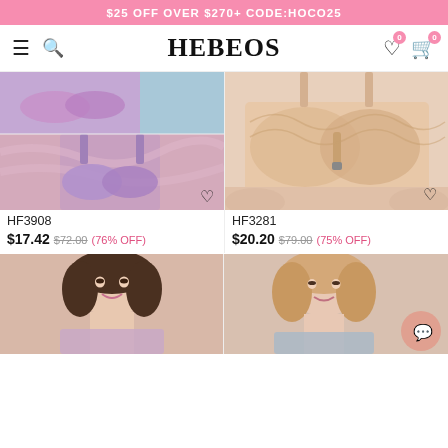$25 OFF OVER $270+ CODE:HOCO25
[Figure (screenshot): HEBEOS store navigation bar with hamburger menu, search icon, brand name HEBEOS, wishlist icon with badge 0, and cart icon with badge 0]
[Figure (photo): Purple bra product HF3908 shown in two stacked photos — top view and hanging display on pink satin background]
[Figure (photo): Beige/nude lace front-closure bra product HF3281 worn by model]
HF3908
$17.42  $72.00(76% OFF)
HF3281
$20.20  $79.00(75% OFF)
[Figure (photo): Woman smiling, wearing a bra — bottom left product preview]
[Figure (photo): Woman with light hair, wearing a bra — bottom right product preview with chat bubble icon]